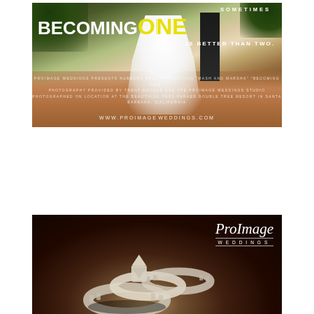[Figure (photo): Wedding photo poster with couple walking, text overlay reading 'SOMETIMES BECOMING ONE IS BETTER THAN TWO' with yellow ONE, credits text, and ProImage Weddings website URL]
[Figure (photo): Sepia-toned close-up photo of diamond wedding rings with ProImage Weddings logo watermark in upper right]